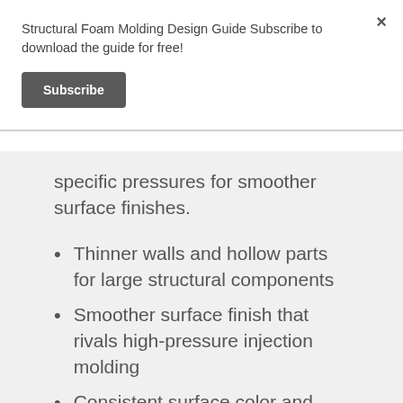Structural Foam Molding Design Guide Subscribe to download the guide for free!
Subscribe
specific pressures for smoother surface finishes.
Thinner walls and hollow parts for large structural components
Smoother surface finish that rivals high-pressure injection molding
Consistent surface color and finish – no swirls
Low pressure molding